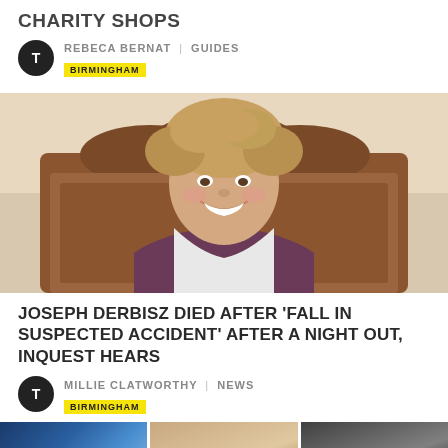CHARITY SHOPS
REBECA BERNAT | GUIDES
BIRMINGHAM
[Figure (photo): Young man with light brown curly hair smiling, wearing a purple open shirt over a white t-shirt, seated in front of a wooden headboard.]
JOSEPH DERBISZ DIED AFTER 'FALL IN SUSPECTED ACCIDENT' AFTER A NIGHT OUT, INQUEST HEARS
MILLIE CLATWORTHY | NEWS
BIRMINGHAM
[Figure (photo): Three thumbnail images at the bottom of the page: a blue-tinted scene, a face/portrait, and a dark image.]